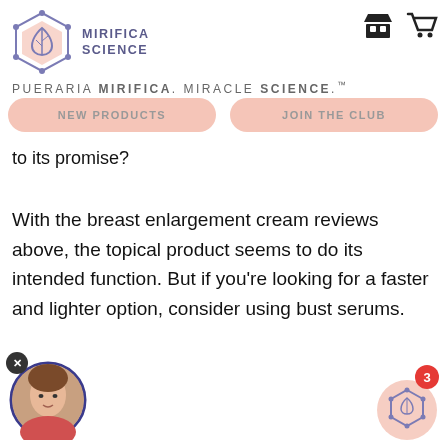[Figure (logo): Mirifica Science hexagon logo with leaf icon]
MIRIFICA SCIENCE
PUERARIA MIRIFICA. MIRACLE SCIENCE.™
[Figure (infographic): Navigation buttons: NEW PRODUCTS and JOIN THE CLUB]
to its promise?
With the breast enlargement cream reviews above, the topical product seems to do its intended function. But if you're looking for a faster and lighter option, consider using bust serums.
[Figure (photo): Circular avatar photo of a woman, with X close button]
[Figure (logo): Mirifica Science small hexagon logo badge with notification count 3]